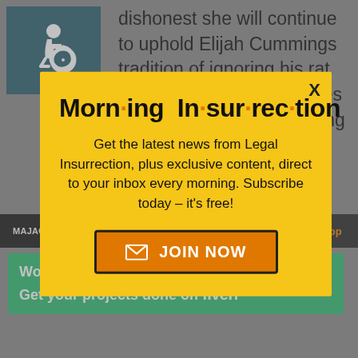dishonest she will continue to uphold Elijah Cummings tradition of ignoring his rat infested district to spew lies in Congress while collecting graft.
[Figure (screenshot): Accessibility/wheelchair icon in teal box]
Morn·ing In·sur·rec·tion
Get the latest news from Legal Insurrection, plus exclusive content, direct to your inbox every morning. Subscribe today – it's free!
JOIN NOW
MAJACK | November 04, 2019 at 7:55
back to top
Working from home?
Get your projects done on fiverr